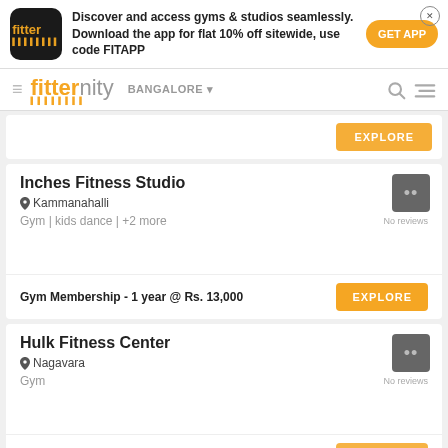[Figure (screenshot): Fitter app advertisement banner with logo, text and GET APP button]
fitternity BANGALORE
EXPLORE
Inches Fitness Studio
Kammanahalli
Gym | kids dance | +2 more
No reviews
Gym Membership - 1 year @ Rs. 13,000
Hulk Fitness Center
Nagavara
Gym
No reviews
Gym Membership - 3 months @ Rs. 5,500